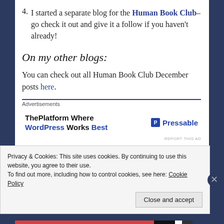4. I started a separate blog for the Human Book Club– go check it out and give it a follow if you haven't already!
On my other blogs:
You can check out all Human Book Club December posts here.
Advertisements
[Figure (other): Advertisement for Pressable: 'ThePlatform Where WordPress Works Best' with Pressable logo on the right.]
REPORT THIS AD
Privacy & Cookies: This site uses cookies. By continuing to use this website, you agree to their use.
To find out more, including how to control cookies, see here: Cookie Policy
Close and accept